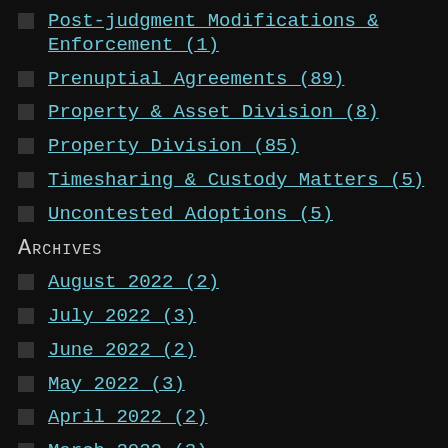Post-judgment Modifications & Enforcement (1)
Prenuptial Agreements (89)
Property & Asset Division (8)
Property Division (85)
Timesharing & Custody Matters (5)
Uncontested Adoptions (5)
Archives
August 2022 (2)
July 2022 (3)
June 2022 (2)
May 2022 (3)
April 2022 (2)
March 2022 (3)